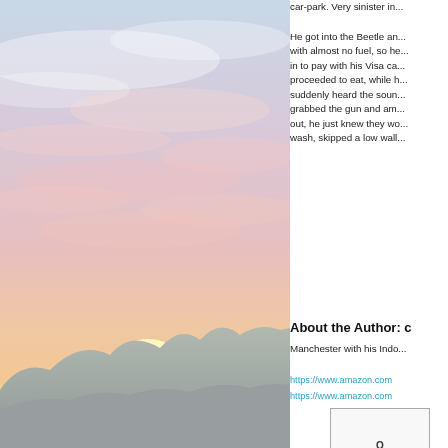[Figure (photo): Sunset sky with soft pink, orange and lavender clouds over a silhouetted mountain range]
car-park. Very sinister in...
He got into the Beetle an... with almost no fuel, so he... in to pay with his Visa ca... proceeded to eat, while h... suddenly heard the soun... grabbed the gun and am... out, he just knew they wo... wash, skipped a low wall...
About the Author: c
Manchester with his Indo...
https://www.amazon.com
https://www.amazon.com
[Figure (screenshot): Book cover thumbnail showing text 'O']